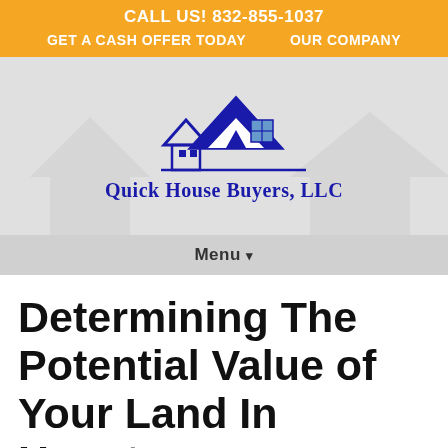CALL US! 832-855-1037
GET A CASH OFFER TODAY   OUR COMPANY
[Figure (logo): Quick House Buyers, LLC logo with blue house roof graphic and company name in blue serif font]
Menu ▾
Determining The Potential Value of Your Land In Houston